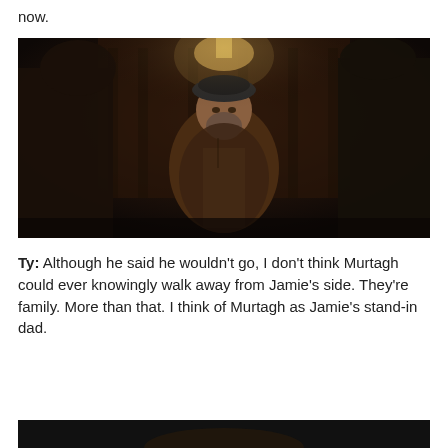now.
[Figure (photo): A bearded man wearing a dark beret and dark medieval-style clothing leans forward slightly between two figures in the foreground. The scene is dimly lit with warm amber and dark tones, suggesting a tavern or indoor setting.]
Ty: Although he said he wouldn't go, I don't think Murtagh could ever knowingly walk away from Jamie's side. They're family. More than that. I think of Murtagh as Jamie's stand-in dad.
[Figure (photo): Partial view of a dark scene, bottom portion cut off.]